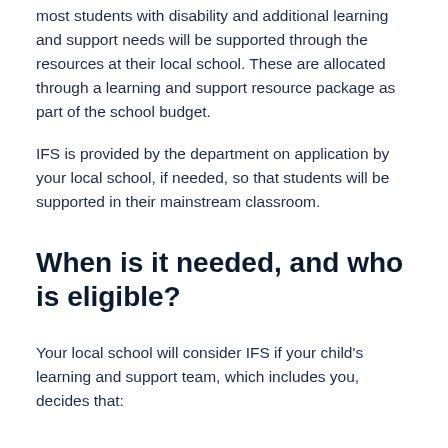most students with disability and additional learning and support needs will be supported through the resources at their local school. These are allocated through a learning and support resource package as part of the school budget.
IFS is provided by the department on application by your local school, if needed, so that students will be supported in their mainstream classroom.
When is it needed, and who is eligible?
Your local school will consider IFS if your child's learning and support team, which includes you, decides that: